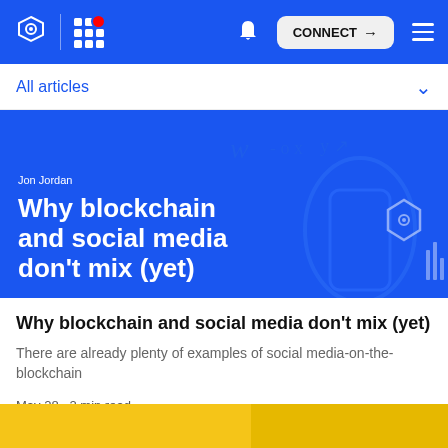CONNECT
All articles
[Figure (illustration): Blue banner image with article title 'Why blockchain and social media don't mix (yet)' by Jon Jordan, with decorative handwriting and blockchain-themed graphics on blue background]
Why blockchain and social media don't mix (yet)
There are already plenty of examples of social media-on-the-blockchain
May 28 · 2 min read
[Figure (illustration): Partial yellow/gold card visible at the bottom of the page]